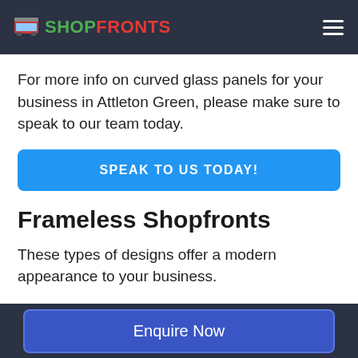SHOPFRONTS
For more info on curved glass panels for your business in Attleton Green, please make sure to speak to our team today.
SPEAK TO US TODAY!
Frameless Shopfronts
These types of designs offer a modern appearance to your business.
Our team can install rails, patch fittings and various other finishes to your shopfront to offer
Enquire Now